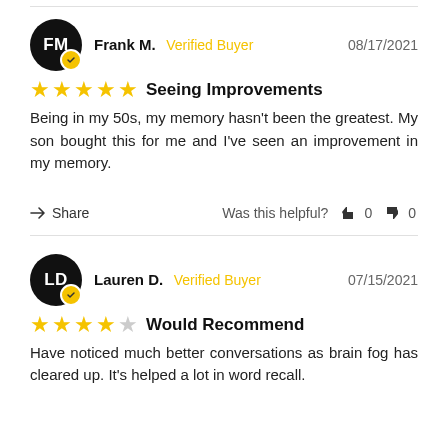Frank M.  Verified Buyer  08/17/2021
★★★★★  Seeing Improvements
Being in my 50s, my memory hasn't been the greatest. My son bought this for me and I've seen an improvement in my memory.
Share  Was this helpful? 👍 0 👎 0
Lauren D.  Verified Buyer  07/15/2021
★★★★☆  Would Recommend
Have noticed much better conversations as brain fog has cleared up. It's helped a lot in word recall.